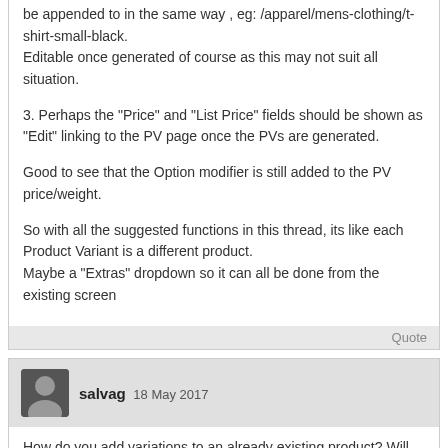be appended to in the same way , eg: /apparel/mens-clothing/t-shirt-small-black.
Editable once generated of course as this may not suit all situation.
3. Perhaps the "Price" and "List Price" fields should be shown as "Edit" linking to the PV page once the PVs are generated.
Good to see that the Option modifier is still added to the PV price/weight.
So with all the suggested functions in this thread, its like each Product Variant is a different product.
Maybe a "Extras" dropdown so it can all be done from the existing screen
Quote
salvag 18 May 2017
How do you add variations to an already existing product? Will we have to recreate all of our products to support this feature?
Quote
natewallis 02 Jun 2017